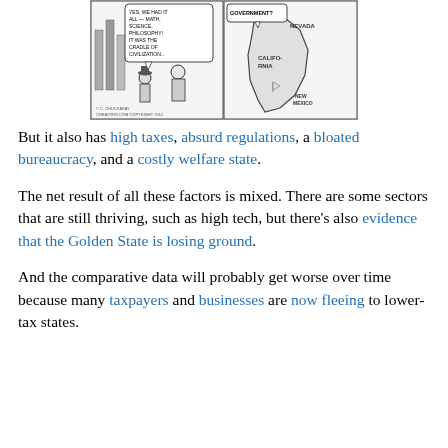[Figure (illustration): A two-panel political cartoon. Left panel shows two men in conversation with a speech bubble reading 'YES, WE HAD IT ALL — MATH, SCIENCE, PHILOSOPHY! IT WAS THE CRADLE OF CIVILIZATION...' Right panel shows a map of California and neighboring states (Nevada, New Mexico) with a question mark bubble reading 'GOVERNMENT?'. Credited to Chuck Asay, Creators.com, copyright 2012.]
But it also has high taxes, absurd regulations, a bloated bureaucracy, and a costly welfare state.
The net result of all these factors is mixed. There are some sectors that are still thriving, such as high tech, but there's also evidence that the Golden State is losing ground.
And the comparative data will probably get worse over time because many taxpayers and businesses are now fleeing to lower-tax states.